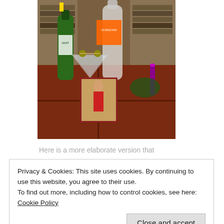[Figure (photo): A photograph showing a martini glass with olives on a skewer, a green bottle (vermouth), a clear bottle (gin), a small religious icon of a saint in red robes, all arranged on a dark reddish-brown wooden table. Bookshelves visible in the background.]
Here is a more elaborate version that
Privacy & Cookies: This site uses cookies. By continuing to use this website, you agree to their use.
To find out more, including how to control cookies, see here: Cookie Policy
Close and accept